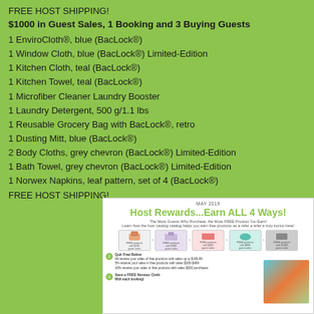FREE HOST SHIPPING!
$1000 in Guest Sales, 1 Booking and 3 Buying Guests
1 EnviroCloth®, blue (BacLock®)
1 Window Cloth, blue (BacLock®) Limited-Edition
1 Kitchen Cloth, teal (BacLock®)
1 Kitchen Towel, teal (BacLock®)
1 Microfiber Cleaner Laundry Booster
1 Laundry Detergent, 500 g/1.1 lbs
1 Reusable Grocery Bag with BacLock®, retro
1 Dusting Mitt, blue (BacLock®)
2 Body Cloths, grey chevron (BacLock®) Limited-Edition
1 Bath Towel, grey chevron (BacLock®) Limited-Edition
1 Norwex Napkins, leaf pattern, set of 4 (BacLock®)
FREE HOST SHIPPING!
[Figure (infographic): Host Rewards...Earn ALL 4 Ways! promotional flyer showing tiered rewards for Norwex hosts based on guest sales, May 2019]